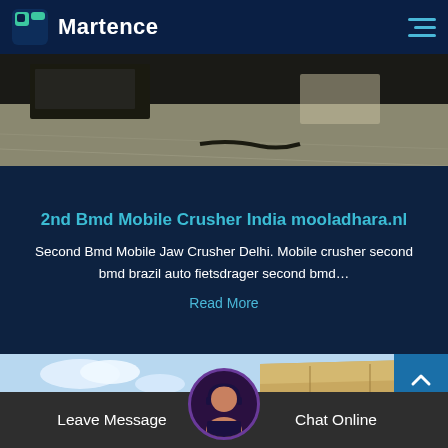Martence
[Figure (photo): Warehouse or industrial floor photo showing machinery and concrete floor]
2nd Bmd Mobile Crusher India mooladhara.nl
Second Bmd Mobile Jaw Crusher Delhi. Mobile crusher second bmd brazil auto fietsdrager second bmd…
Read More
[Figure (photo): Outdoor photo showing blue sky and large tan/beige box or container]
Leave Message   Chat Online